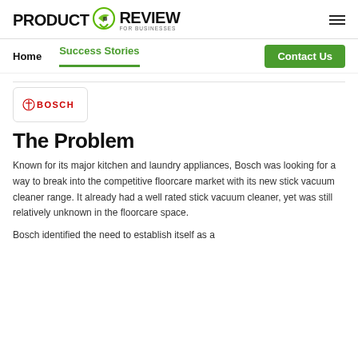PRODUCT REVIEW FOR BUSINESSES
Home   Success Stories   Contact Us
[Figure (logo): Bosch logo in a rounded rectangle box]
The Problem
Known for its major kitchen and laundry appliances, Bosch was looking for a way to break into the competitive floorcare market with its new stick vacuum cleaner range. It already had a well rated stick vacuum cleaner, yet was still relatively unknown in the floorcare space.
Bosch identified the need to establish itself as a